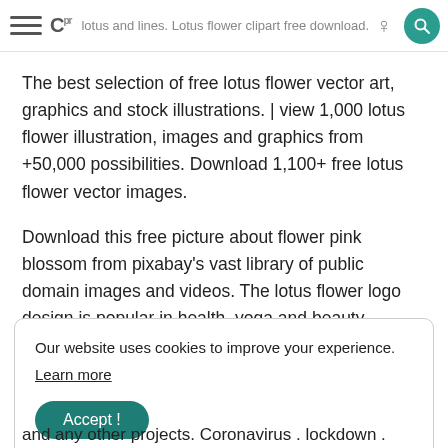lotus and lines. Lotus flower clipart free download.
The best selection of free lotus flower vector art, graphics and stock illustrations. | view 1,000 lotus flower illustration, images and graphics from +50,000 possibilities. Download 1,100+ free lotus flower vector images.
Download this free picture about flower pink blossom from pixabay's vast library of public domain images and videos. The lotus flower logo design is popular in health, yoga and beauty businesses. 1,000 free lotus flower clipart in ai, svg, eps or psd.
Our website uses cookies to improve your experience.
Learn more
Accept !
and any other projects. Coronavirus . lockdown . cricut svg